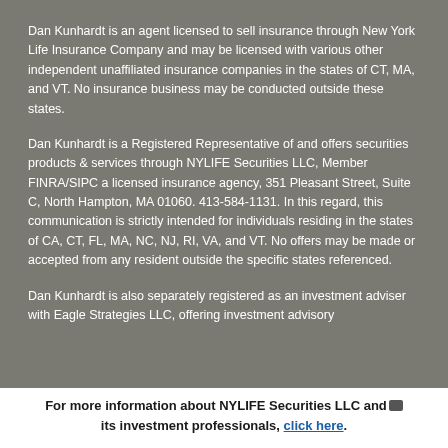Dan Kunhardt is an agent licensed to sell insurance through New York Life Insurance Company and may be licensed with various other independent unaffiliated insurance companies in the states of CT, MA, and VT. No insurance business may be conducted outside these states.
Dan Kunhardt is a Registered Representative of and offers securities products & services through NYLIFE Securities LLC, Member FINRA/SIPC a licensed insurance agency, 351 Pleasant Street, Suite C, North Hampton, MA 01060. 413-584-1131. In this regard, this communication is strictly intended for individuals residing in the states of CA, CT, FL, MA, NC, NJ, RI, VA, and VT. No offers may be made or accepted from any resident outside the specific states referenced.
Dan Kunhardt is also separately registered as an investment adviser with Eagle Strategies LLC, offering investment advisory
For more information about NYLIFE Securities LLC and its investment professionals, click here.